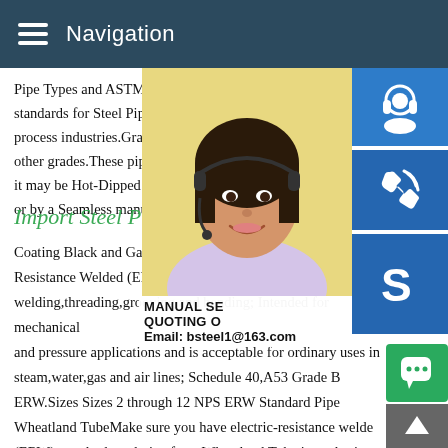Navigation
Pipe Types and ASTM A53 is one of the m standards for Steel Pipe that used in the C process industries.Grade B of ASTM A 53 other grades.These pipes can be bare pip it may be Hot-Dipped or Zinc-Coated and or by a Seamless manufacturing process.
Import Steel Pipe Products U
Coating Black and Galvanized; Specs AST Resistance Welded (ERW) Pipe is suitable welding,threading,grooving and bending; Intended for mechanical and pressure applications and is acceptable for ordinary uses in steam,water,gas and air lines; Schedule 40,A53 Grade B ERW.Sizes Sizes 2 through 12 NPS ERW Standard Pipe Wheatland TubeMake sure you have electric-resistance welde (ERW) standard steel pipe from Wheatland Tube in trade sizes
[Figure (photo): Customer service representative woman with headset, smiling]
[Figure (infographic): Blue customer support icon button]
[Figure (infographic): Blue phone/call icon button]
[Figure (infographic): Blue Skype icon button]
MANUAL SE QUOTING O Email: bsteel1@163.com
[Figure (infographic): Green chat bubble button]
[Figure (infographic): Gray back to top arrow button]